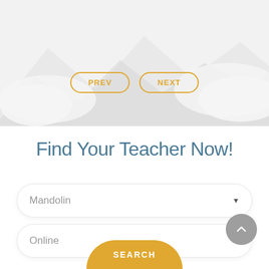[Figure (illustration): Gray mountain/cloud silhouette background with gradient, top section of webpage]
PREV
NEXT
Find Your Teacher Now!
Mandolin
Online
SEARCH